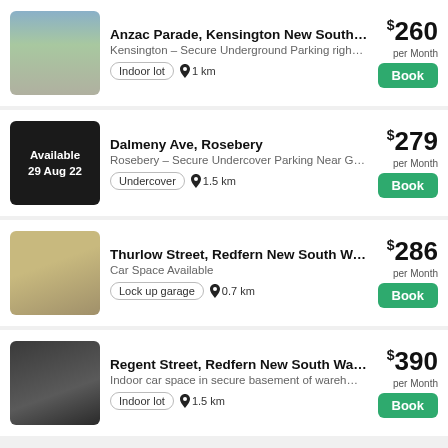Anzac Parade, Kensington New South W... $260 per Month | Kensington - Secure Underground Parking righ... | Indoor lot | 1 km | Book
Dalmeny Ave, Rosebery $279 per Month | Rosebery - Secure Undercover Parking Near G... | Undercover | 1.5 km | Book | Available 29 Aug 22
Thurlow Street, Redfern New South Wal... $286 per Month | Car Space Available | Lock up garage | 0.7 km | Book
Regent Street, Redfern New South Wal... $390 per Month | Indoor car space in secure basement of wareh... | Indoor lot | 1.5 km | Book